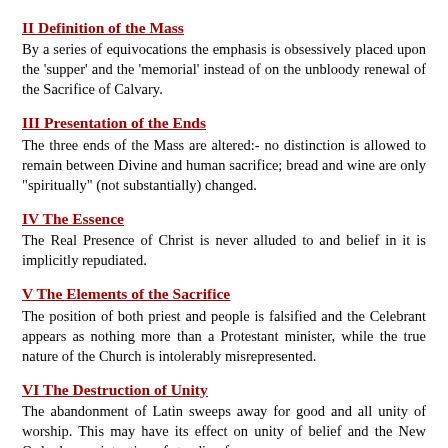II Definition of the Mass
By a series of equivocations the emphasis is obsessively placed upon the 'supper' and the 'memorial' instead of on the unbloody renewal of the Sacrifice of Calvary.
III Presentation of the Ends
The three ends of the Mass are altered:- no distinction is allowed to remain between Divine and human sacrifice; bread and wine are only "spiritually" (not substantially) changed.
IV The Essence
The Real Presence of Christ is never alluded to and belief in it is implicitly repudiated.
V The Elements of the Sacrifice
The position of both priest and people is falsified and the Celebrant appears as nothing more than a Protestant minister, while the true nature of the Church is intolerably misrepresented.
VI The Destruction of Unity
The abandonment of Latin sweeps away for good and all unity of worship. This may have its effect on unity of belief and the New Order has no intention of standing for